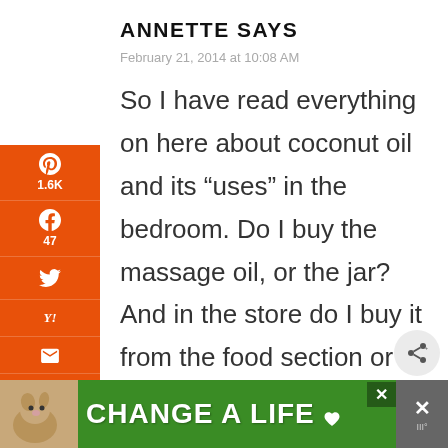ANNETTE SAYS
February 21, 2014 at 10:08 AM
So I have read everything on here about coconut oil and its “uses” in the bedroom. Do I buy the massage oil, or the jar? And in the store do I buy it from the food section or is
[Figure (screenshot): Orange left sidebar with social share icons: Pinterest (1.6K), Facebook (47), Twitter, Yahoo, Email, Print. Below sidebar: 1.6K SHARES total. Floating share button on right side.]
[Figure (photo): Ad banner at bottom: green background with dog photo, text CHANGE A LIFE, close buttons]